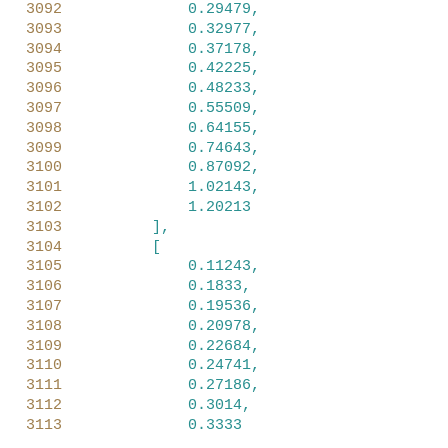Code listing showing numeric array data with line numbers 3092-3112+. Lines contain floating-point values and bracket punctuation in a code/data context.